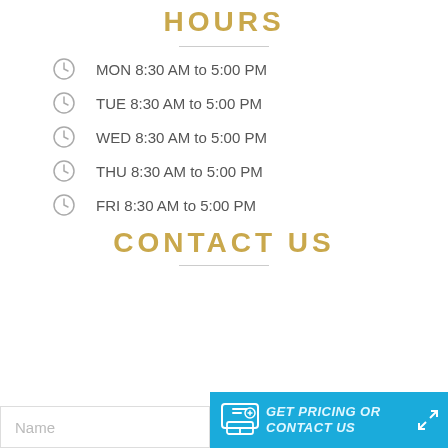HOURS
MON 8:30 AM to 5:00 PM
TUE 8:30 AM to 5:00 PM
WED 8:30 AM to 5:00 PM
THU 8:30 AM to 5:00 PM
FRI 8:30 AM to 5:00 PM
CONTACT US
Name
GET PRICING OR CONTACT US